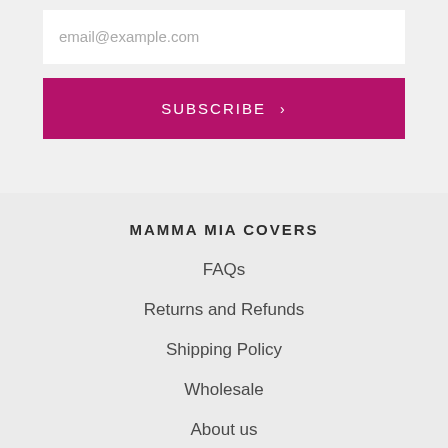email@example.com
SUBSCRIBE >
MAMMA MIA COVERS
FAQs
Returns and Refunds
Shipping Policy
Wholesale
About us
Happy Customers Club
AfterPay